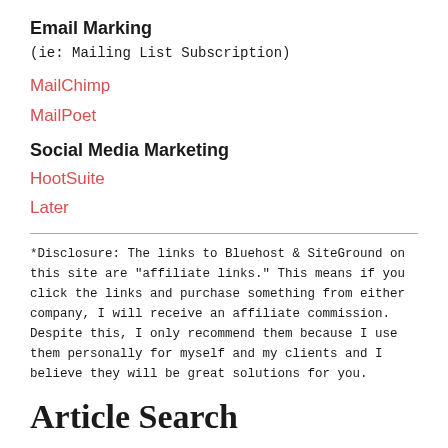Email Marking
(ie: Mailing List Subscription)
MailChimp
MailPoet
Social Media Marketing
HootSuite
Later
*Disclosure: The links to Bluehost & SiteGround on this site are "affiliate links." This means if you click the links and purchase something from either company, I will receive an affiliate commission. Despite this, I only recommend them because I use them personally for myself and my clients and I believe they will be great solutions for you.
Article Search